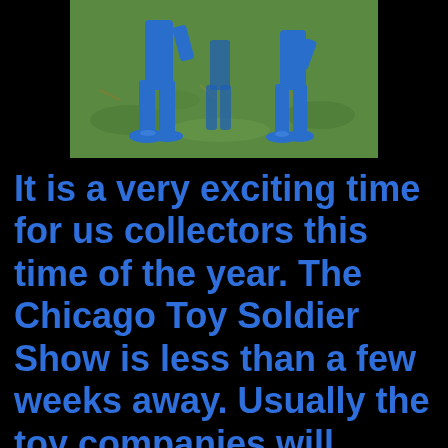[Figure (photo): Close-up photo of blue plastic toy soldier figures standing on grass, showing only their legs and bases from below the waist. The figures are bright blue against a green grass background.]
It is a very exciting time for us collectors this time of the year. The Chicago Toy Soldier Show is less than a few weeks away. Usually the toy companies will release new products or show some prototypes at the show. Last week HaT finally re-stocked